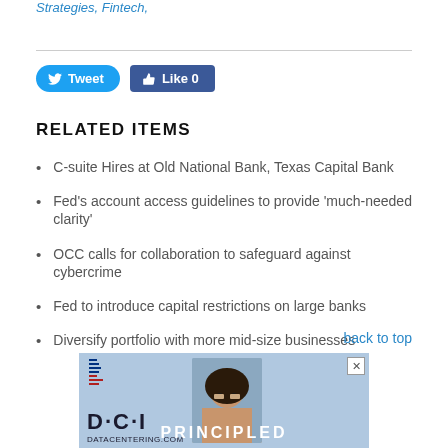Strategies, Fintech,
[Figure (other): Social media buttons: Tweet (Twitter) and Like 0 (Facebook)]
RELATED ITEMS
C-suite Hires at Old National Bank, Texas Capital Bank
Fed's account access guidelines to provide 'much-needed clarity'
OCC calls for collaboration to safeguard against cybercrime
Fed to introduce capital restrictions on large banks
Diversify portfolio with more mid-size businesses
back to top
[Figure (other): DCI Datacentering.com advertisement banner with person photo and text PRINCIPLED]